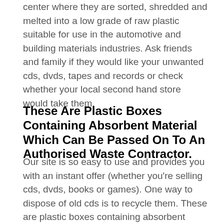center where they are sorted, shredded and melted into a low grade of raw plastic suitable for use in the automotive and building materials industries. Ask friends and family if they would like your unwanted cds, dvds, tapes and records or check whether your local second hand store would take them.
These Are Plastic Boxes Containing Absorbent Material Which Can Be Passed On To An Authorised Waste Contractor.
Our site is so easy to use and provides you with an instant offer (whether you're selling cds, dvds, books or games). One way to dispose of old cds is to recycle them. These are plastic boxes containing absorbent material which can be passed on to an authorised waste contractor.